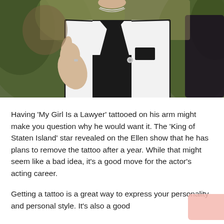[Figure (photo): A man wearing a white blazer with black trim giving a thumbs up, posed at what appears to be a celebrity event with green foliage in the background.]
Having ‘My Girl Is a Lawyer’ tattooed on his arm might make you question why he would want it. The ‘King of Staten Island’ star revealed on the Ellen show that he has plans to remove the tattoo after a year. While that might seem like a bad idea, it’s a good move for the actor’s acting career.
Getting a tattoo is a great way to express your personality and personal style. It’s also a good